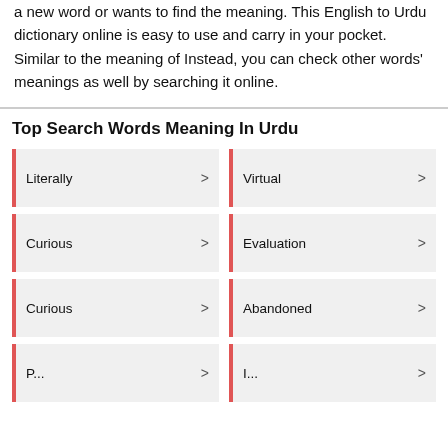a new word or wants to find the meaning. This English to Urdu dictionary online is easy to use and carry in your pocket. Similar to the meaning of Instead, you can check other words' meanings as well by searching it online.
Top Search Words Meaning In Urdu
Literally
Virtual
Curious
Evaluation
Curious
Abandoned
Percussion (partial)
Integrity (partial)